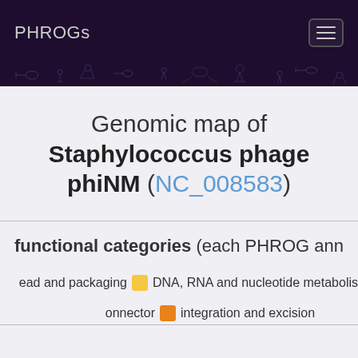PHROGs
Genomic map of Staphylococcus phage phiNM (NC_008583)
functional categories (each PHROG ann...)
head and packaging — DNA, RNA and nucleotide metabolism
connector — integration and excision
l — lysis